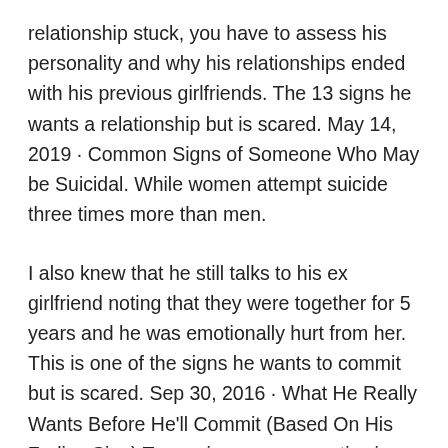relationship stuck, you have to assess his personality and why his relationships ended with his previous girlfriends. The 13 signs he wants a relationship but is scared. May 14, 2019 · Common Signs of Someone Who May be Suicidal. While women attempt suicide three times more than men.
I also knew that he still talks to his ex girlfriend noting that they were together for 5 years and he was emotionally hurt from her. This is one of the signs he wants to commit but is scared. Sep 30, 2016 · What He Really Wants Before He'll Commit (Based On His Zodiac Sign) Taurus is a very romantic sign, so it is not uncommon for him to have his head in the clouds when it comes to love. He doesn't take you on real dates.